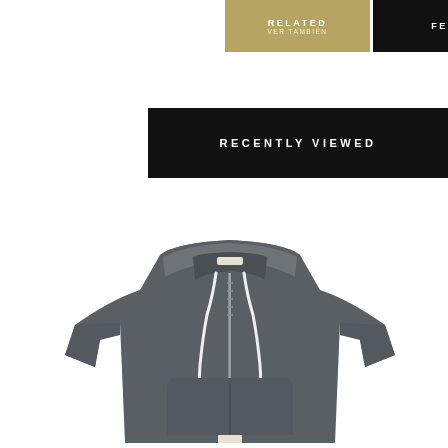RELATED
FEATURED
RECENTLY VIEWED
[Figure (photo): Gray zip-up hoodie sweatshirt with white drawstrings, front kangaroo pocket, and silver zipper, displayed flat on white background]